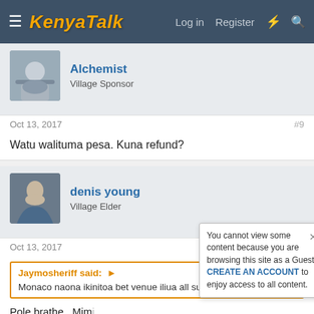KenyaTalk — Log in  Register
Alchemist
Village Sponsor
Oct 13, 2017   #9
Watu walituma pesa. Kuna refund?
denis young
Village Elder
Oct 13, 2017   #10
Jaymosheriff said: ▶
Monaco naona ikinitoa bet venue iliua all superstars
Pole brathe...Mimi ujione venye kuna kupatiwa za bure.
You cannot view some content because you are browsing this site as a Guest. CREATE AN ACCOUNT to enjoy access to all content.